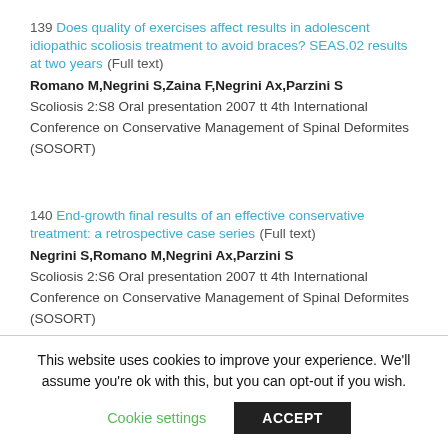139 Does quality of exercises affect results in adolescent idiopathic scoliosis treatment to avoid braces? SEAS.02 results at two years (Full text) Romano M,Negrini S,Zaina F,Negrini Ax,Parzini S Scoliosis 2:S8 Oral presentation 2007 tt 4th International Conference on Conservative Management of Spinal Deformites (SOSORT)
140 End-growth final results of an effective conservative treatment: a retrospective case series (Full text) Negrini S,Romano M,Negrini Ax,Parzini S Scoliosis 2:S6 Oral presentation 2007 tt 4th International Conference on Conservative Management of Spinal Deformites (SOSORT)
This website uses cookies to improve your experience. We'll assume you're ok with this, but you can opt-out if you wish. Cookie settings ACCEPT